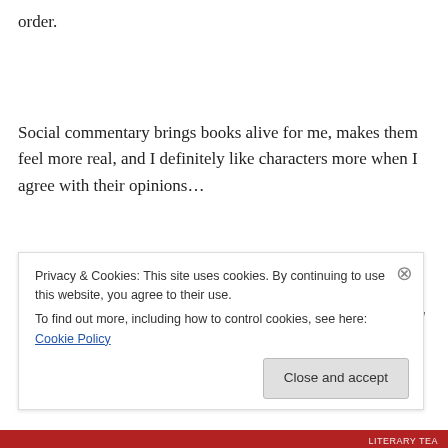order.
Social commentary brings books alive for me, makes them feel more real, and I definitely like characters more when I agree with their opinions…
“This country is so in love with itself,” he complained, sipping sake. “It’s like one big mirror. It just sits all day and looks at itself. When it needs the world to do something with
Privacy & Cookies: This site uses cookies. By continuing to use this website, you agree to their use.
To find out more, including how to control cookies, see here: Cookie Policy
Close and accept